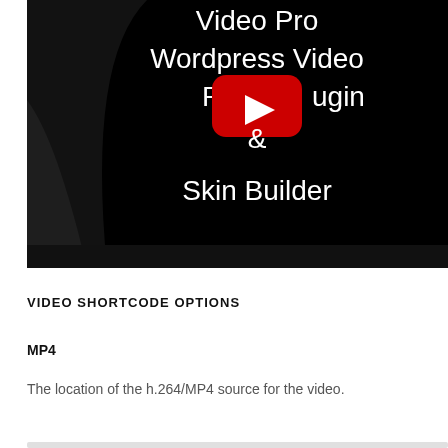[Figure (screenshot): YouTube video thumbnail showing text 'Video Pro Wordpress Video Player Plugin & Skin Builder' on a black background with a YouTube play button overlay]
VIDEO SHORTCODE OPTIONS
MP4
The location of the h.264/MP4 source for the video.